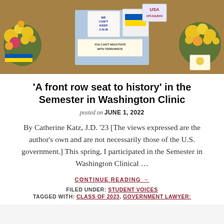[Figure (photo): Photograph of flowers, signs and protest materials including Ukrainian flag colors and signs reading 'We Can't Keep Calm' and 'You Can't Negotiate With Terrorists']
‘A front row seat to history’ in the Semester in Washington Clinic
posted on JUNE 1, 2022
By Catherine Katz, J.D. ’23 [The views expressed are the author’s own and are not necessarily those of the U.S. government.] This spring, I participated in the Semester in Washington Clinical …
CONTINUE READING →
FILED UNDER: STUDENT VOICES
TAGGED WITH: CLASS OF 2023, GOVERNMENT LAWYER: